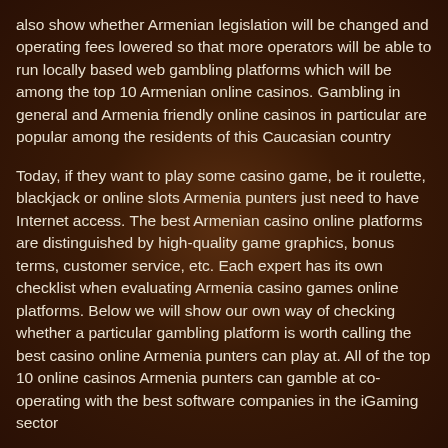also show whether Armenian legislation will be changed and operating fees lowered so that more operators will be able to run locally based web gambling platforms which will be among the top 10 Armenian online casinos. Gambling in general and Armenia friendly online casinos in particular are popular among the residents of this Caucasian country
Today, if they want to play some casino game, be it roulette, blackjack or online slots Armenia punters just need to have Internet access. The best Armenian casino online platforms are distinguished by high-quality game graphics, bonus terms, customer service, etc. Each expert has its own checklist when evaluating Armenia casino games online platforms. Below we will show our own way of checking whether a particular gambling platform is worth calling the best casino online Armenia punters can play at. All of the top 10 online casinos Armenia punters can gamble at co-operating with the best software companies in the iGaming sector
Consequently, if you see the brands of NetEnt, Playtech or Microgaming at the website of the gambling platform you are